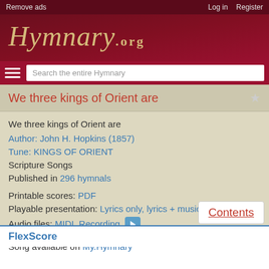Remove ads | Log in | Register
[Figure (logo): Hymnary.org logo in gold italic script on dark red background]
We three kings of Orient are
We three kings of Orient are
Author: John H. Hopkins (1857)
Tune: KINGS OF ORIENT
Scripture Songs
Published in 296 hymnals
Printable scores: PDF
Playable presentation: Lyrics only, lyrics + music
Audio files: MIDI, Recording
Song available on My.Hymnary
Contents
FlexScore